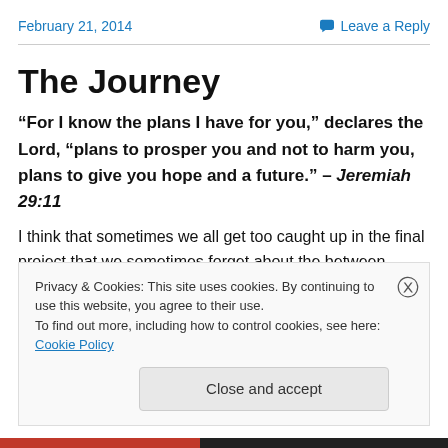February 21, 2014    Leave a Reply
The Journey
“For I know the plans I have for you,” declares the Lord, “plans to prosper you and not to harm you, plans to give you hope and a future.” – Jeremiah 29:11
I think that sometimes we all get too caught up in the final project that we sometimes forget about the between times.
Privacy & Cookies: This site uses cookies. By continuing to use this website, you agree to their use.
To find out more, including how to control cookies, see here: Cookie Policy